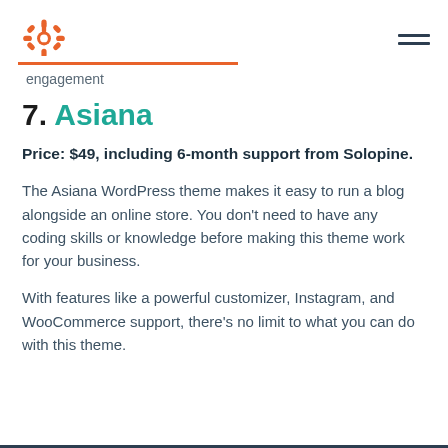HubSpot logo and navigation
engagement
7. Asiana
Price: $49, including 6-month support from Solopine.
The Asiana WordPress theme makes it easy to run a blog alongside an online store. You don't need to have any coding skills or knowledge before making this theme work for your business.
With features like a powerful customizer, Instagram, and WooCommerce support, there's no limit to what you can do with this theme.